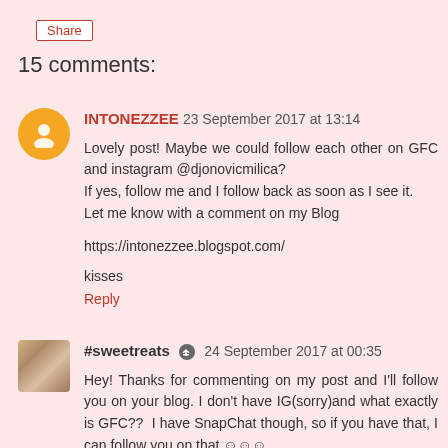Share
15 comments:
INTONEZZEE  23 September 2017 at 13:14
Lovely post! Maybe we could follow each other on GFC and instagram @djonovicmilica?
If yes, follow me and I follow back as soon as I see it.
Let me know with a comment on my Blog

https://intonezzee.blogspot.com/

kisses

Reply
#sweetreats  24 September 2017 at 00:35
Hey! Thanks for commenting on my post and I'll follow you on your blog. I don't have IG(sorry)and what exactly is GFC??  I have SnapChat though, so if you have that, I can follow you on that ☺☺☺